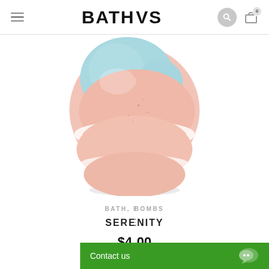BATHVS
[Figure (photo): A spherical bath bomb with pastel blue, pink/peach, and white swirled sections, photographed on a white background.]
BATH, BOMBS
SERENITY
$4.00
Contact us